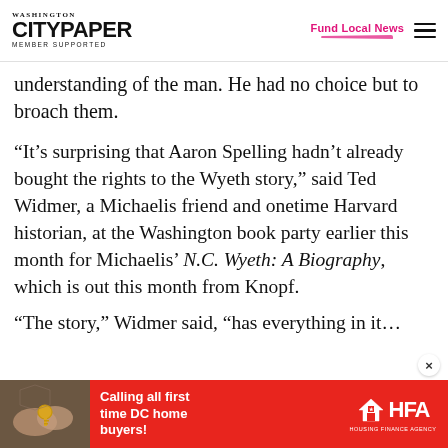Washington City Paper — Member Supported | Fund Local News
understanding of the man. He had no choice but to broach them.
“It’s surprising that Aaron Spelling hadn’t already bought the rights to the Wyeth story,” said Ted Widmer, a Michaelis friend and onetime Harvard historian, at the Washington book party earlier this month for Michaelis’ N.C. Wyeth: A Biography, which is out this month from Knopf.
“The story,” Widmer said, “has everything in it…
[Figure (infographic): HFA advertisement banner — Calling all first time DC home buyers!]